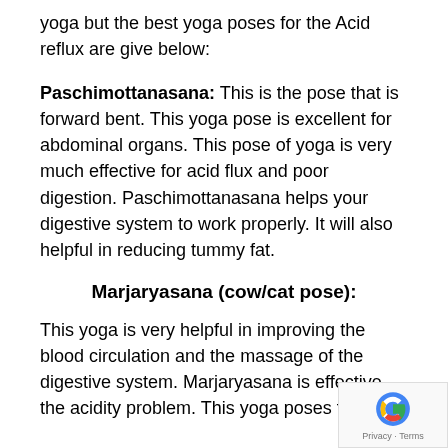yoga but the best yoga poses for the Acid reflux are give below:
Paschimottanasana: This is the pose that is forward bent. This yoga pose is excellent for abdominal organs. This pose of yoga is very much effective for acid flux and poor digestion. Paschimottanasana helps your digestive system to work properly. It will also helpful in reducing tummy fat.
Marjaryasana (cow/cat pose):
This yoga is very helpful in improving the blood circulation and the massage of the digestive system. Marjaryasana is effective the acidity problem. This yoga poses for acid